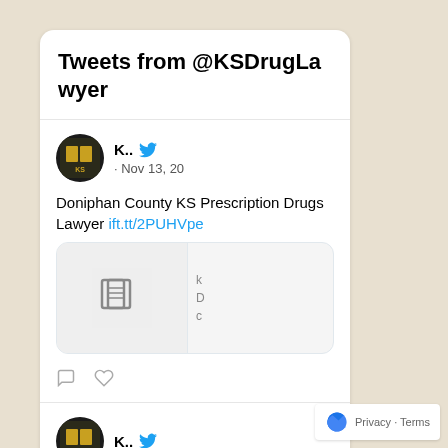Tweets from @KSDrugLawyer
K.. · Nov 13, 20
Doniphan County KS Prescription Drugs Lawyer ift.tt/2PUHVpe
[Figure (screenshot): Twitter widget showing tweets from @KSDrugLawyer account with a tweet about Doniphan County KS Prescription Drugs Lawyer]
K..